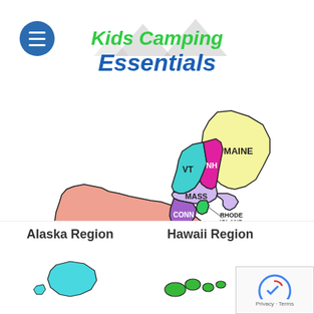[Figure (logo): Kids Camping Essentials logo with mountain silhouettes and green/blue italic bold text]
[Figure (map): Colorful map of northeastern US states: Maine (yellow), Vermont (cyan), New Hampshire (magenta/pink), New York (salmon/pink), Massachusetts (lavender), Connecticut (purple), Rhode Island (green), Pennsylvania (yellow), New Jersey (brown/tan). States are labeled with their names or abbreviations.]
Alaska Region
Hawaii Region
[Figure (map): Partial view of Alaska region map in cyan/teal color at bottom left]
[Figure (map): Partial view of Hawaii region map in green at bottom center]